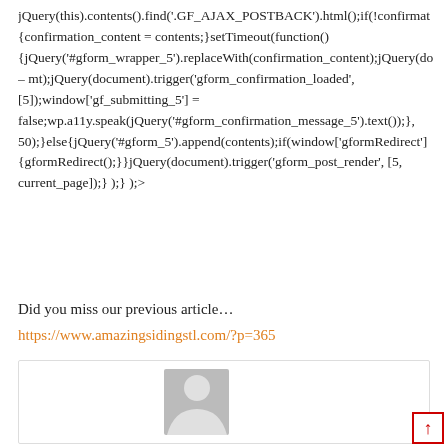jQuery(this).contents().find('.GF_AJAX_POSTBACK').html();if(!confirmat {confirmation_content = contents;}setTimeout(function() {jQuery('#gform_wrapper_5').replaceWith(confirmation_content);jQuery(do – mt);jQuery(document).trigger('gform_confirmation_loaded', [5]);window['gf_submitting_5'] = false;wp.a11y.speak(jQuery('#gform_confirmation_message_5').text());}, 50);}else{jQuery('#gform_5').append(contents);if(window['gformRedirect'] {gformRedirect();}}jQuery(document).trigger('gform_post_render', [5, current_page]);} );} );>
Did you miss our previous article…
https://www.amazingsidingstl.com/?p=365
[Figure (illustration): Author avatar placeholder: grey rectangle with white silhouette person icon]